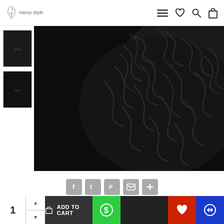[Figure (screenshot): E-commerce product page for curly hair extensions. Shows navigation header with logo and icons, product thumbnail images on the left, main product image showing curly black hair, social share buttons, divider line, three trust badge icons (Secured, Free Shipping, Free Returns), and a bottom add-to-cart bar with quantity selector, green dollar button, wishlist and compare buttons.]